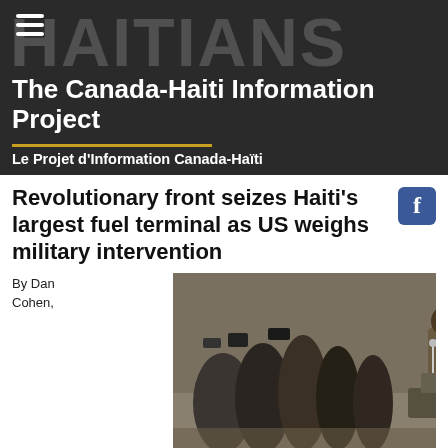The Canada-Haiti Information Project
Le Projet d'Information Canada-Haïti
Revolutionary front seizes Haiti's largest fuel terminal as US weighs military intervention
By Dan Cohen,
[Figure (photo): Press conference scene with journalists and cameras crowding around a podium; a uniformed figure stands behind the podium with a Haitian flag visible on the right side of the image.]